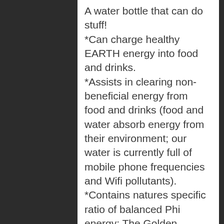A water bottle that can do stuff! *Can charge healthy EARTH energy into food and drinks. *Assists in clearing non-beneficial energy from food and drinks (food and water absorb energy from their environment; our water is currently full of mobile phone frequencies and Wifi pollutants). *Contains natures specific ratio of balanced Phi energy: The Golden Measurement" of which life is created. *Helps Ouches? (Apply bottom of the bottle to an area to help shift discomfort - Not intended to replace medical care. *May even increase strength and energy (Muscle test before and after drinking from your Earth Bottom...